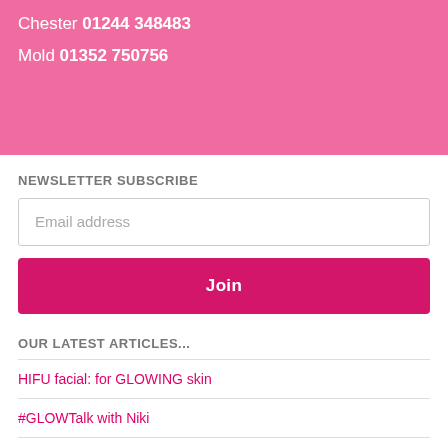Chester 01244 348483
Mold 01352 750756
NEWSLETTER SUBSCRIBE
Email address
Join
OUR LATEST ARTICLES...
HIFU facial: for GLOWING skin
#GLOWTalk with Niki